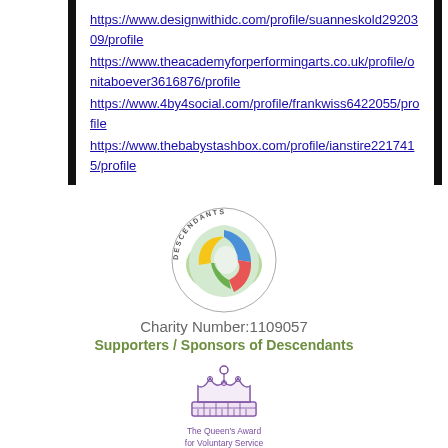https://www.designwithidc.com/profile/suanneskold2920309/profile
https://www.theacademyforperformingarts.co.uk/profile/onitaboever3616876/profile
https://www.4by4social.com/profile/frankwiss6422055/profile
https://www.thebabystashbox.com/profile/ianstire2217415/profile
[Figure (logo): Descendants charity logo — circular swirl design with blue, yellow, red, green and white colors, 'DESCENDANTS' text arranged in a circle around the outside]
Charity Number:1109057
Supporters / Sponsors of Descendants
[Figure (logo): The Queen's Award for Voluntary Service — purple/violet crown illustration with text 'The Queen's Award for Voluntary Service' below]